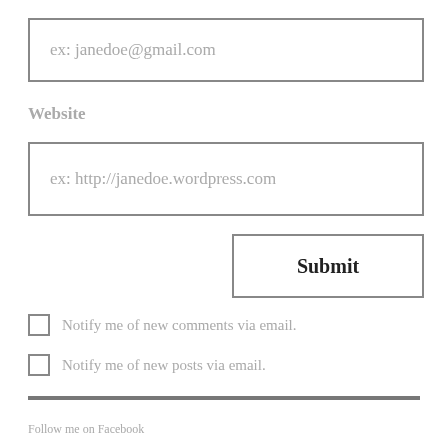ex: janedoe@gmail.com
Website
ex: http://janedoe.wordpress.com
Submit
Notify me of new comments via email.
Notify me of new posts via email.
Follow me on Facebook